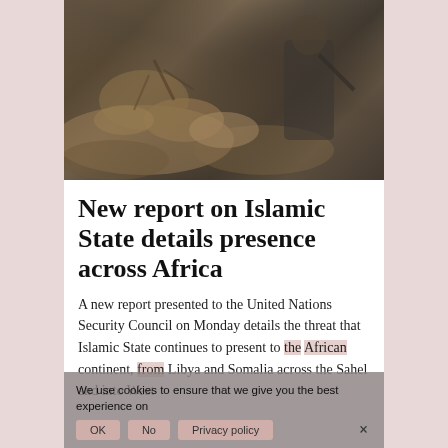[Figure (photo): Outdoor scene with rocky/earthy terrain and a person holding a weapon, muted brownish tones, appears to be a video still]
New report on Islamic State details presence across Africa
A new report presented to the United Nations Security Council on Monday details the threat that Islamic State continues to present to the African continent, from Libya and Somalia across the Sahel and into West
We use cookies to ensure that we give you the best experience on
OK   No   Privacy policy   ×